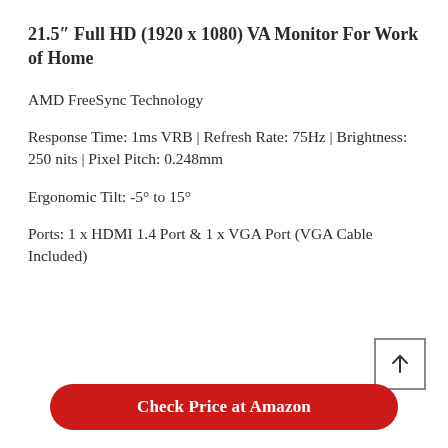21.5″ Full HD (1920 x 1080) VA Monitor For Work of Home
AMD FreeSync Technology
Response Time: 1ms VRB | Refresh Rate: 75Hz | Brightness: 250 nits | Pixel Pitch: 0.248mm
Ergonomic Tilt: -5° to 15°
Ports: 1 x HDMI 1.4 Port & 1 x VGA Port (VGA Cable Included)
Check Price at Amazon